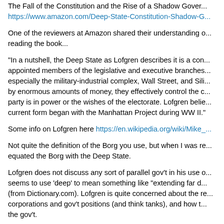The Fall of the Constitution and the Rise of a Shadow Gover... https://www.amazon.com/Deep-State-Constitution-Shadow-G...
One of the reviewers at Amazon shared their understanding of reading the book...
"In a nutshell, the Deep State as Lofgren describes it is a con... appointed members of the legislative and executive branches... especially the military-industrial complex, Wall Street, and Sili... by enormous amounts of money, they effectively control the c... party is in power or the wishes of the electorate. Lofgren belie... current form began with the Manhattan Project during WW II."
Some info on Lofgren here https://en.wikipedia.org/wiki/Mike_...
Not quite the definition of the Borg you use, but when I was re... equated the Borg with the Deep State.
Lofgren does not discuss any sort of parallel gov't in his use o... seems to use 'deep' to mean something like "extending far d... (from Dictionary.com). Lofgren is quite concerned about the re... corporations and gov't positions (and think tanks), and how t... the gov't.
From what I read, Bill Moyers encouraged Lofgren to write this...